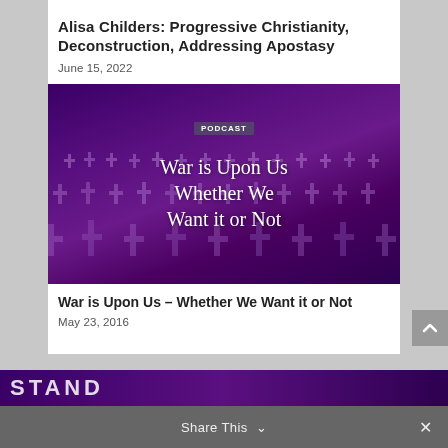Alisa Childers: Progressive Christianity, Deconstruction, Addressing Apostasy
June 15, 2022
[Figure (photo): Purple-tinted image of a field of white crosses (military cemetery) with text overlay: PODCAST badge and title 'War is Upon Us Whether We Want it or Not']
War is Upon Us – Whether We Want it or Not
May 23, 2016
Share This
[Figure (photo): Purple-tinted strip at the bottom with large white text beginning 'STAND...']